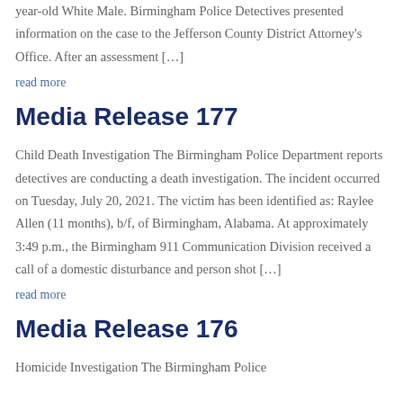year-old White Male. Birmingham Police Detectives presented information on the case to the Jefferson County District Attorney's Office. After an assessment […]
read more
Media Release 177
Child Death Investigation The Birmingham Police Department reports detectives are conducting a death investigation. The incident occurred on Tuesday, July 20, 2021. The victim has been identified as: Raylee Allen (11 months), b/f, of Birmingham, Alabama. At approximately 3:49 p.m., the Birmingham 911 Communication Division received a call of a domestic disturbance and person shot […]
read more
Media Release 176
Homicide Investigation The Birmingham Police